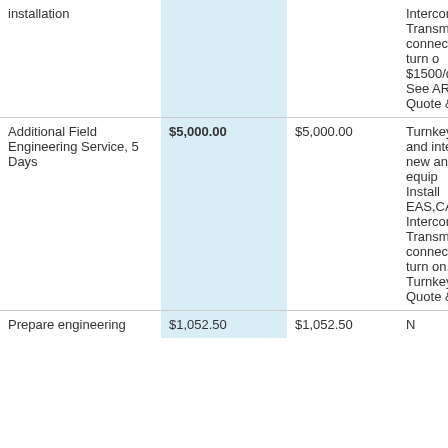| Item | Price | Amount | Description |
| --- | --- | --- | --- |
| installation |  |  | Intercon
Transmitt
connecti
turn o
$1500/d
See ARC
Quote & |
| Additional Field Engineering Service, 5 Days | $5,000.00 | $5,000.00 | Turnkey I
and inte
new an
equip
Install
EAS,CA
Intercon
Transmitt
connecti
turn on.
Turnkey I
Quote & |
| Prepare engineering | $1,052.50 | $1,052.50 | N |